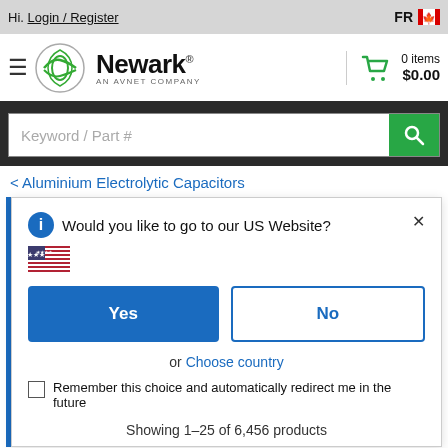Hi. Login / Register   FR [Canada]
[Figure (logo): Newark - An Avnet Company logo with green swoosh icon]
0 items $0.00
Keyword / Part #
< Aluminium Electrolytic Capacitors
Would you like to go to our US Website?
Yes
No
or Choose country
Remember this choice and automatically redirect me in the future
Showing 1–25 of 6,456 products